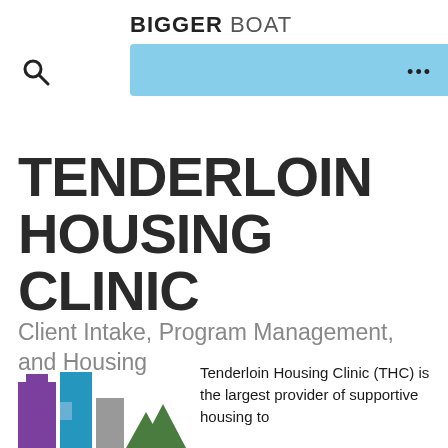[Figure (logo): Bigger Boat logo with shark fin graphic and text 'BIGGER BOAT' in bold/light combination, with a light blue navigation bar and search icon]
TENDERLOIN HOUSING CLINIC
Client Intake, Program Management, and Housing
[Figure (logo): Tenderloin Housing Clinic colorful building/cityscape icon logo with purple, blue, gray, and green shapes]
Tenderloin Housing Clinic (THC) is the largest provider of supportive housing to